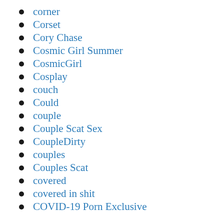corner
Corset
Cory Chase
Cosmic Girl Summer
CosmicGirl
Cosplay
couch
Could
couple
Couple Scat Sex
CoupleDirty
couples
Couples Scat
covered
covered in shit
COVID-19 Porn Exclusive